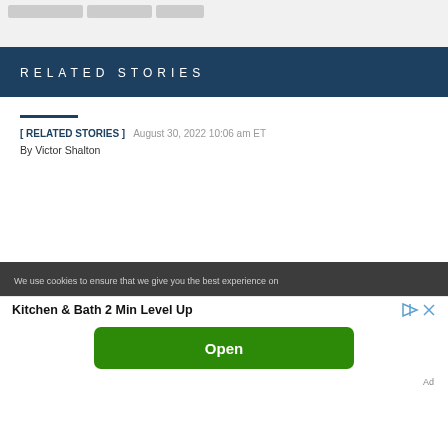RELATED STORIES
[ RELATED STORIES ]  August 30, 2022 10:06 am ET
By Victor Shalton
We use cookies to ensure that we give you the best experience on
Kitchen & Bath 2 Min Level Up
Open
Ad